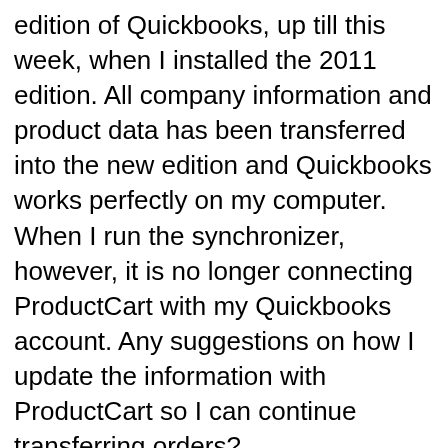edition of Quickbooks, up till this week, when I installed the 2011 edition. All company information and product data has been transferred into the new edition and Quickbooks works perfectly on my computer. When I run the synchronizer, however, it is no longer connecting ProductCart with my Quickbooks account. Any suggestions on how I update the information with ProductCart so I can continue transferring orders?
Matt 20-June-2011 at 2:20pm   Quote   Reply
It sounds like you may have created a new company file during the upgrade.  If the company file is updated everything would have the same "id" and it should be seamless.  However, if you created a new company file (or the upgrade wizard did) the "id" of each item may change.  In such a